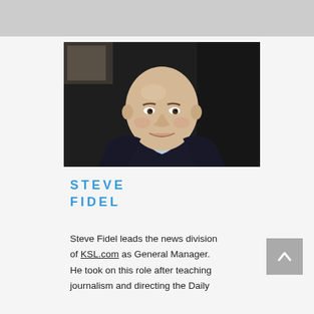[Figure (photo): Professional headshot of Steve Fidel, a bald middle-aged man smiling, wearing a dark blazer over a light blue collared shirt, against a dark background.]
STEVE FIDEL
Steve Fidel leads the news division of KSL.com as General Manager. He took on this role after teaching journalism and directing the Daily Universe and before pursuing a career...